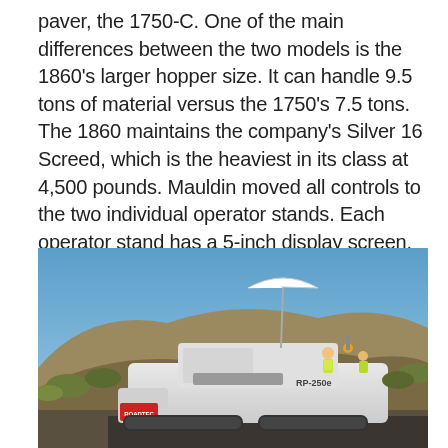paver, the 1750-C. One of the main differences between the two models is the 1860's larger hopper size. It can handle 9.5 tons of material versus the 1750's 7.5 tons. The 1860 maintains the company's Silver 16 Screed, which is the heaviest in its class at 4,500 pounds. Mauldin moved all controls to the two individual operator stands. Each operator stand has a 5-inch display screen. The tracks have been upgraded from 12- to 14-inch track pads.
[Figure (photo): A Roadtec RP-250e paver machine working on a road in a desert/mountainous landscape with brown hills and blue sky in the background. Two workers in yellow safety vests are visible on the machine. A white sunshade umbrella is mounted on top.]